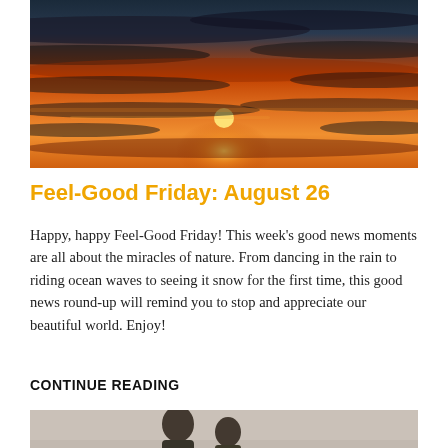[Figure (photo): Sunset sky with orange and red clouds over water, dramatic lighting]
Feel-Good Friday: August 26
Happy, happy Feel-Good Friday! This week's good news moments are all about the miracles of nature. From dancing in the rain to riding ocean waves to seeing it snow for the first time, this good news round-up will remind you to stop and appreciate our beautiful world. Enjoy!
CONTINUE READING
[Figure (photo): Black and white photo of people, partially visible at bottom of page]